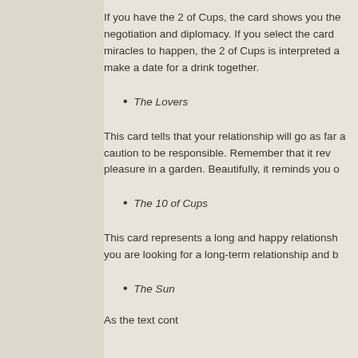If you have the 2 of Cups, the card shows you the negotiation and diplomacy. If you select the card miracles to happen, the 2 of Cups is interpreted a make a date for a drink together.
The Lovers
This card tells that your relationship will go as far a caution to be responsible. Remember that it rev pleasure in a garden. Beautifully, it reminds you o
The 10 of Cups
This card represents a long and happy relationsh you are looking for a long-term relationship and b
The Sun
As the text continues discussing the Sun card...